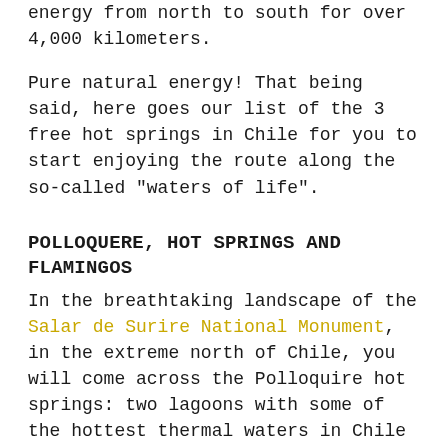energy from north to south for over 4,000 kilometers.
Pure natural energy! That being said, here goes our list of the 3 free hot springs in Chile for you to start enjoying the route along the so-called "waters of life".
POLLOQUERE, HOT SPRINGS AND FLAMINGOS
In the breathtaking landscape of the Salar de Surire National Monument, in the extreme north of Chile, you will come across the Polloquire hot springs: two lagoons with some of the hottest thermal waters in Chile (about 60°C / 140° F). The high concentration of minerals makes these hot springs an instant revitalizer for its visitors.